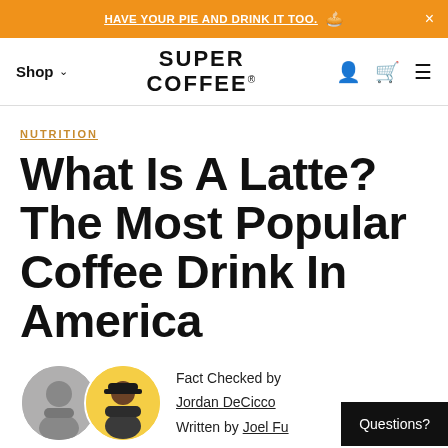HAVE YOUR PIE AND DRINK IT TOO. 🥧 ×
Shop ∨   SUPER COFFEE®   👤 🛍 ≡
NUTRITION
What Is A Latte? The Most Popular Coffee Drink In America
Fact Checked by Jordan DeCicco
Written by Joel Fu
Questions?